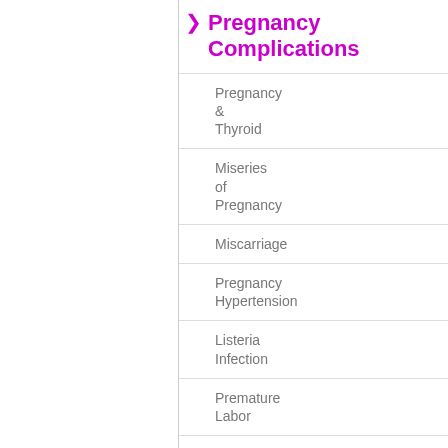Pregnancy Complications
Pregnancy & Thyroid
Miseries of Pregnancy
Miscarriage
Pregnancy Hypertension
Listeria Infection
Premature Labor
Diseases Of Pregnancy
Placenta Previa
Heart Conditions
Dealing with...